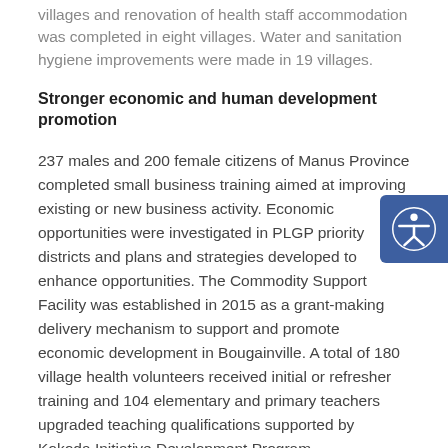villages and renovation of health staff accommodation was completed in eight villages. Water and sanitation hygiene improvements were made in 19 villages.
Stronger economic and human development promotion
237 males and 200 female citizens of Manus Province completed small business training aimed at improving existing or new business activity. Economic opportunities were investigated in PLGP priority districts and plans and strategies developed to enhance opportunities. The Commodity Support Facility was established in 2015 as a grant-making delivery mechanism to support and promote economic development in Bougainville. A total of 180 village health volunteers received initial or refresher training and 104 elementary and primary teachers upgraded teaching qualifications supported by Kokoda Initiative Development Program.
The Governance Implementation Fund Steering Committee worked with the private sector to support institutional strengthening and